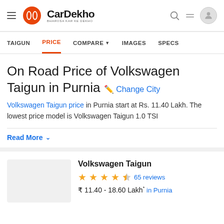CarDekho — BHAROSA KAR KE DEKHO
TAIGUN | PRICE | COMPARE | IMAGES | SPECS
On Road Price of Volkswagen Taigun in Purnia  Change City
Volkswagen Taigun price in Purnia start at Rs. 11.40 Lakh. The lowest price model is Volkswagen Taigun 1.0 TSI
Read More
Volkswagen Taigun
65 reviews
₹ 11.40 - 18.60 Lakh* in Purnia